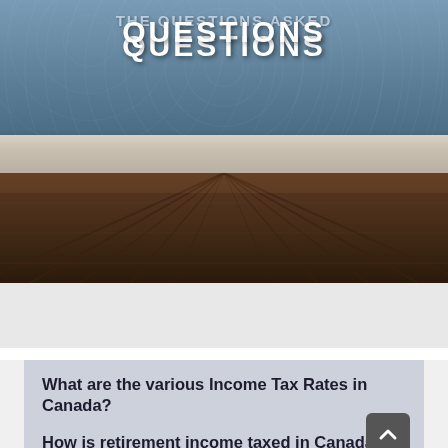QUESTIONS
[Figure (illustration): Decorative header with blue patterned background and wooden floor/shelf below]
What are the various Income Tax Rates in Canada?
How is retirement income taxed in Canada?